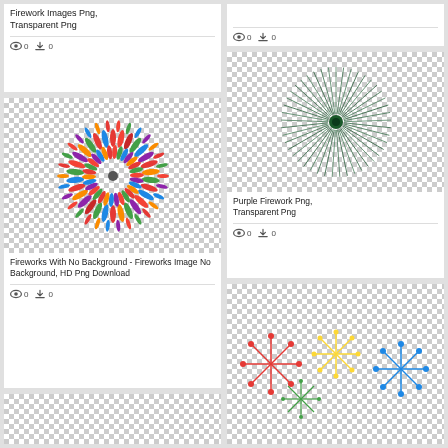[Figure (illustration): Fireworks image card top-left partial - title: Firework Images Png, Transparent Png, views: 0, downloads: 0]
[Figure (illustration): Top right partial card - views: 0, downloads: 0]
[Figure (illustration): Colorful fireworks with no background, multicolored petal burst on checkerboard]
[Figure (illustration): Purple/teal firework radial lines on checkerboard - title: Purple Firework Png, Transparent Png, views: 0, downloads: 0]
[Figure (illustration): Bottom left partial checkerboard card]
[Figure (illustration): Bottom right partial - colorful fireworks on checkerboard]